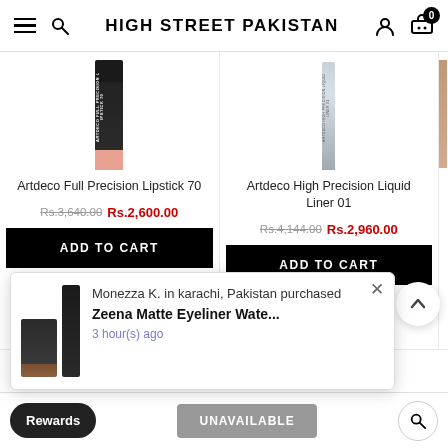HIGH STREET PAKISTAN
[Figure (photo): Artdeco Full Precision Lipstick 70 product image - black tube with pink/coral tip]
Artdeco Full Precision Lipstick 70
Rs.3,640.00 Rs.2,600.00
ADD TO CART
[Figure (photo): Artdeco High Precision Liquid Liner 01 product image - silver/metallic tube]
Artdeco High Precision Liquid Liner 01
Rs.4,144.00 Rs.2,960.00
ADD TO CART
Monezza K. in karachi, Pakistan purchased
Zeena Matte Eyeliner Wate...
3 hour(s) ago
Rewards
UNAVAILABLE